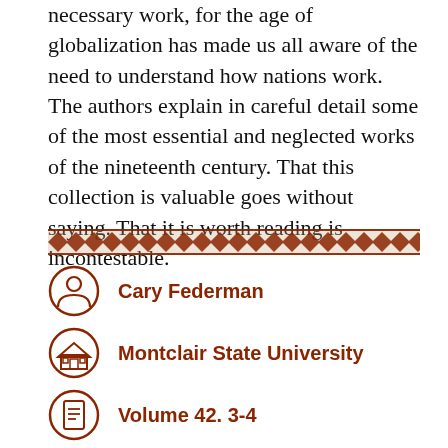necessary work, for the age of globalization has made us all aware of the need to understand how nations work. The authors explain in careful detail some of the most essential and neglected works of the nineteenth century. That this collection is valuable goes without saying. That it is worth reading is incontestable.
[Figure (other): Decorative horizontal border with repeating wave/zigzag pattern in brown/red tones]
Cary Federman
Montclair State University
Volume 42. 3-4
2014